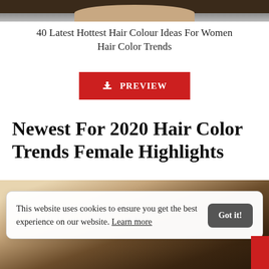[Figure (photo): Top portion of a woman's hair/head photo, cropped at top of page]
40 Latest Hottest Hair Colour Ideas For Women Hair Color Trends
[Figure (screenshot): Red PREVIEW button with download icon]
Newest For 2020 Hair Color Trends Female Highlights
[Figure (photo): Photo of the back of a woman's head showing brown hair with highlights]
This website uses cookies to ensure you get the best experience on our website. Learn more
Got it!